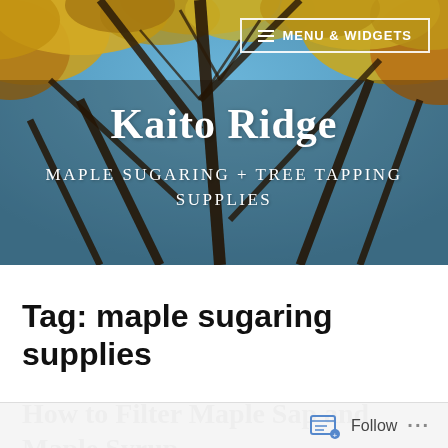[Figure (photo): Looking up through autumn maple trees with yellow and orange foliage against a blue sky, serving as a website header background image.]
≡ MENU & WIDGETS
Kaito Ridge
MAPLE SUGARING + TREE TAPPING SUPPLIES
Tag: maple sugaring supplies
How to Filter Maple Sap and Maple Syrup